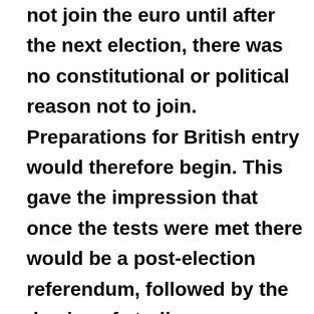not join the euro until after the next election, there was no constitutional or political reason not to join. Preparations for British entry would therefore begin. This gave the impression that once the tests were met there would be a post-election referendum, followed by the demise of sterling.

In 1999, with a full-scale launch at a